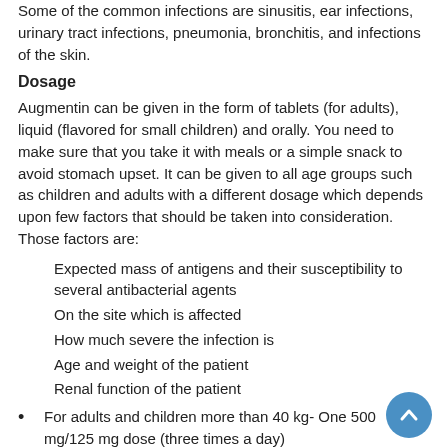Some of the common infections are sinusitis, ear infections, urinary tract infections, pneumonia, bronchitis, and infections of the skin.
Dosage
Augmentin can be given in the form of tablets (for adults), liquid (flavored for small children) and orally. You need to make sure that you take it with meals or a simple snack to avoid stomach upset. It can be given to all age groups such as children and adults with a different dosage which depends upon few factors that should be taken into consideration. Those factors are:
Expected mass of antigens and their susceptibility to several antibacterial agents
On the site which is affected
How much severe the infection is
Age and weight of the patient
Renal function of the patient
For adults and children more than 40 kg- One 500 mg/125 mg dose (three times a day)
For Children less than 40 kg -20 mg/5 mg/kg/day to 60 mg/15 mg/kg/day ( three divided doses)